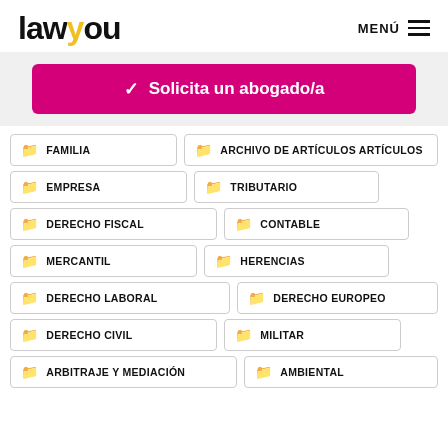[Figure (logo): Lawyou logo with yellow 'wy' letters]
MENÚ ≡
[Figure (screenshot): Pink button: Solicita un abogado/a]
FAMILIA
ARCHIVO DE ARTÍCULOS ARTÍCULOS
EMPRESA
TRIBUTARIO
DERECHO FISCAL
CONTABLE
MERCANTIL
HERENCIAS
DERECHO LABORAL
DERECHO EUROPEO
DERECHO CIVIL
MILITAR
ARBITRAJE Y MEDIACIÓN
AMBIENTAL